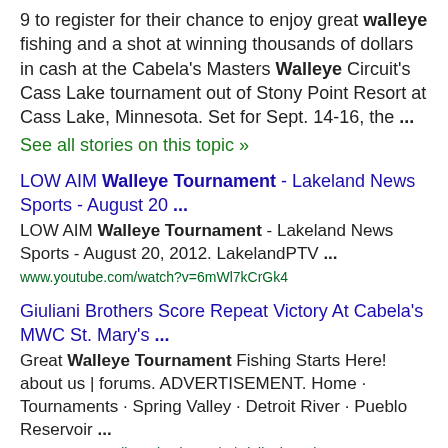9 to register for their chance to enjoy great walleye fishing and a shot at winning thousands of dollars in cash at the Cabela's Masters Walleye Circuit's Cass Lake tournament out of Stony Point Resort at Cass Lake, Minnesota. Set for Sept. 14-16, the ...
See all stories on this topic »
LOW AIM Walleye Tournament - Lakeland News Sports - August 20 ...
LOW AIM Walleye Tournament - Lakeland News Sports - August 20, 2012. LakelandPTV ...
www.youtube.com/watch?v=6mWl7kCrGk4
Giuliani Brothers Score Repeat Victory At Cabela's MWC St. Mary's ...
Great Walleye Tournament Fishing Starts Here! about us | forums. ADVERTISEMENT. Home · Tournaments · Spring Valley · Detroit River · Pueblo Reservoir ...
www.masterswalleyecircuit.com/.../Giuliani-Brothers-Score-Re...
Koep's Walleye Challenge set for Minnewaska